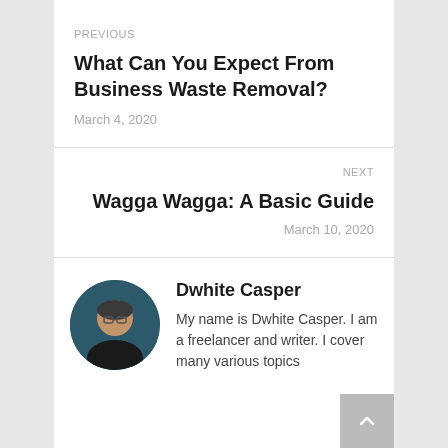PREVIOUS
What Can You Expect From Business Waste Removal?
March 4, 2020
NEXT
Wagga Wagga: A Basic Guide
March 10, 2020
Dwhite Casper
My name is Dwhite Casper. I am a freelancer and writer. I cover many various topics